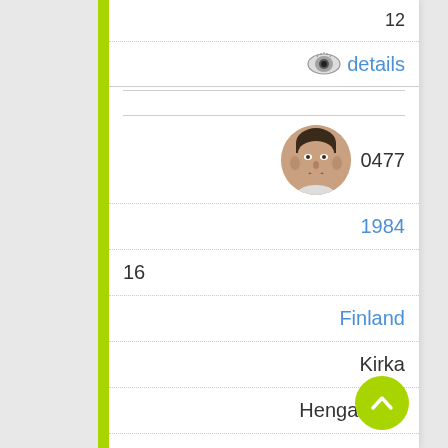12
[Figure (illustration): Eye icon with 'details' link in blue]
[Figure (photo): Circular avatar photo of a man, with user id 0477]
1984
16
Finland
Kirka
Hengaillaan
46